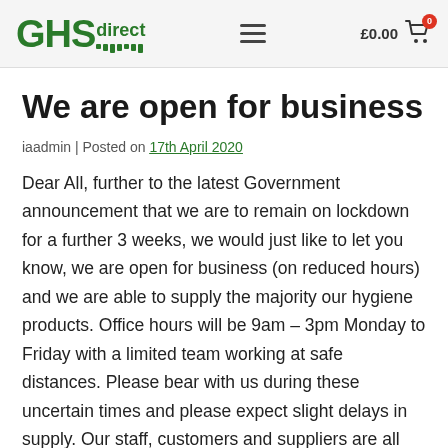GHS direct — £0.00 cart
We are open for business
iaadmin | Posted on 17th April 2020
Dear All, further to the latest Government announcement that we are to remain on lockdown for a further 3 weeks, we would just like to let you know, we are open for business (on reduced hours) and we are able to supply the majority our hygiene products. Office hours will be 9am – 3pm Monday to Friday with a limited team working at safe distances. Please bear with us during these uncertain times and please expect slight delays in supply. Our staff, customers and suppliers are all very important to us as is their health and safety. We will continue to